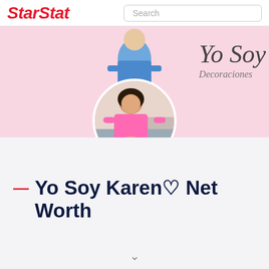StarStat
[Figure (photo): Pink banner with profile photo of a woman in a pink dress (circular crop) and a woman in blue in the background. Cursive text reads 'Yo Soy Decoraciones' on the right side of the banner.]
Yo Soy Karen♡ Net Worth